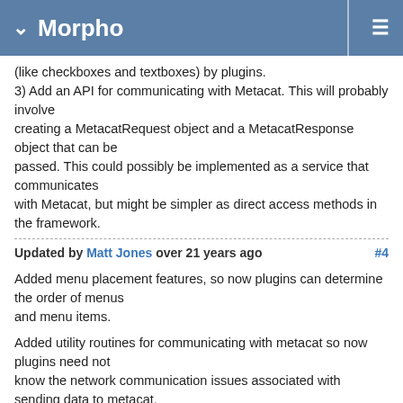Morpho
(like checkboxes and textboxes) by plugins.
3) Add an API for communicating with Metacat. This will probably involve
creating a MetacatRequest object and a MetacatResponse object that can be
passed. This could possibly be implemented as a service that communicates
with Metacat, but might be simpler as direct access methods in the framework.
Updated by Matt Jones over 21 years ago  #4
Added menu placement features, so now plugins can determine the order of menus
and menu items.

Added utility routines for communicating with metacat so now plugins need not
know the network communication issues associated with sending data to metacat.
See the design/morpho-design.vsd Visio file for an overview of the API.
Updated by Matt Jones over 21 years ago  #5